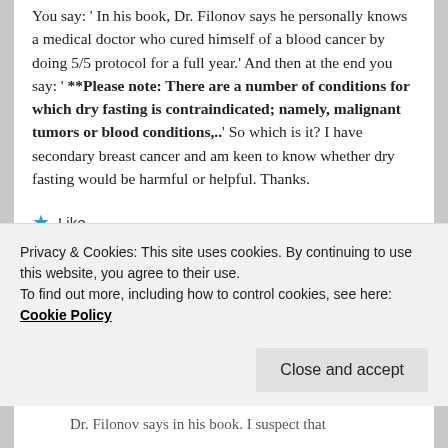You say: ' In his book, Dr. Filonov says he personally knows a medical doctor who cured himself of a blood cancer by doing 5/5 protocol for a full year.' And then at the end you say: ' **Please note: There are a number of conditions for which dry fasting is contraindicated; namely, malignant tumors or blood conditions,..' So which is it? I have secondary breast cancer and am keen to know whether dry fasting would be harmful or helpful. Thanks.
Like
Reply ↓
Privacy & Cookies: This site uses cookies. By continuing to use this website, you agree to their use.
To find out more, including how to control cookies, see here: Cookie Policy
Close and accept
Dr. Filonov says in his book. I suspect that